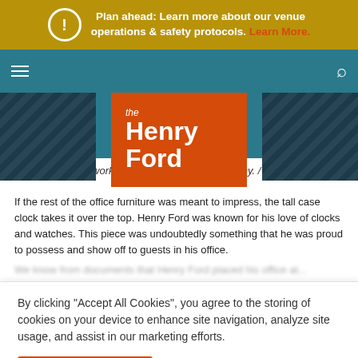Plan ahead: Learn more about our venue operations & safety protocols. Learn More.
[Figure (logo): The Henry Ford museum logo — orange/red box with white text 'the Henry Ford', on teal navigation bar with dark patterned side panels]
Tall Case Clock, works by Waltham Clock Company. / THF158743
If the rest of the office furniture was meant to impress, the tall case clock takes it over the top. Henry Ford was known for his love of clocks and watches. This piece was undoubtedly something that he was proud to possess and show off to guests in his office.
[partially obscured text line]
By clicking "Accept All Cookies", you agree to the storing of cookies on your device to enhance site navigation, analyze site usage, and assist in our marketing efforts.
Accept Cookies | Cookies Settings